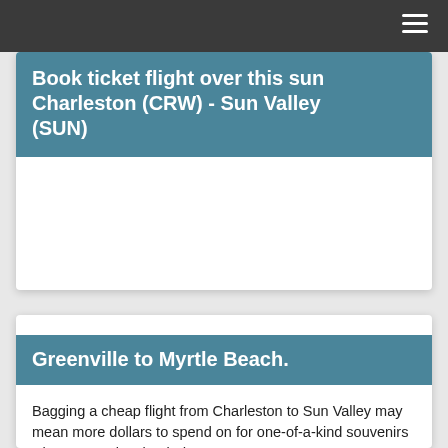≡
Book ticket flight over this sun Charleston (CRW) - Sun Valley (SUN)
Greenville to Myrtle Beach.
Bagging a cheap flight from Charleston to Sun Valley may mean more dollars to spend on for one-of-a-kind souvenirs when you arrive, but it doesn't